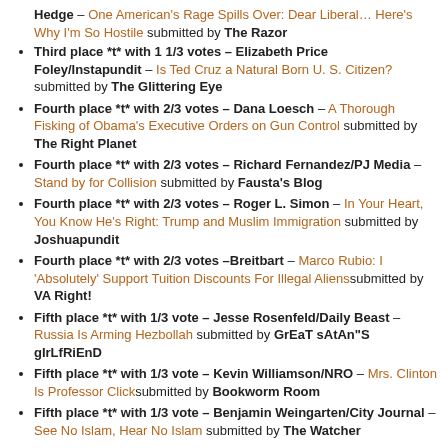Hedge – One American's Rage Spills Over: Dear Liberal… Here's Why I'm So Hostile submitted by The Razor
Third place *t* with 1 1/3 votes – Elizabeth Price Foley/Instapundit – Is Ted Cruz a Natural Born U. S. Citizen? submitted by The Glittering Eye
Fourth place *t* with 2/3 votes – Dana Loesch – A Thorough Fisking of Obama's Executive Orders on Gun Control submitted by The Right Planet
Fourth place *t* with 2/3 votes – Richard Fernandez/PJ Media – Stand by for Collision submitted by Fausta's Blog
Fourth place *t* with 2/3 votes – Roger L. Simon – In Your Heart, You Know He's Right: Trump and Muslim Immigration submitted by Joshuapundit
Fourth place *t* with 2/3 votes –Breitbart – Marco Rubio: I 'Absolutely' Support Tuition Discounts For Illegal Alienssubmitted by VA Right!
Fifth place *t* with 1/3 vote – Jesse Rosenfeld/Daily Beast – Russia Is Arming Hezbollah submitted by GrEaT sAtAn"S gIrLfRiEnD
Fifth place *t* with 1/3 vote – Kevin Williamson/NRO – Mrs. Clinton Is Professor Clicksubmitted by Bookworm Room
Fifth place *t* with 1/3 vote – Benjamin Weingarten/City Journal – See No Islam, Hear No Islam submitted by The Watcher
See you next week!